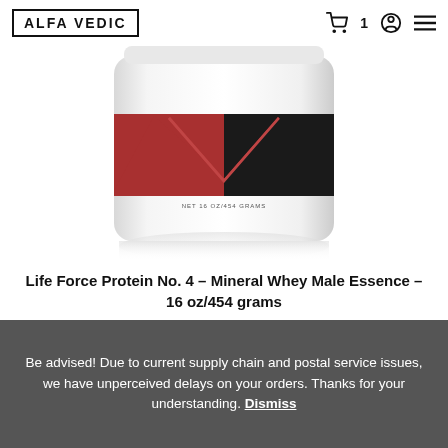ALFA VEDIC
[Figure (photo): White cylindrical protein powder container with red and black label showing the Alfa Vedic logo (a V shape). Text on container reads NET 16 OZ/454 GRAMS.]
Life Force Protein No. 4 – Mineral Whey Male Essence – 16 oz/454 grams
$44.00
Be advised! Due to current supply chain and postal service issues, we have unperceived delays on your orders. Thanks for your understanding. Dismiss